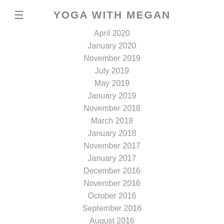YOGA WITH MEGAN
April 2020
January 2020
November 2019
July 2019
May 2019
January 2019
November 2018
March 2018
January 2018
November 2017
January 2017
December 2016
November 2016
October 2016
September 2016
August 2016
July 2016
June 2016
May 2016